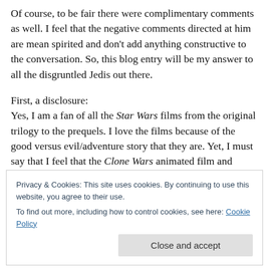Of course, to be fair there were complimentary comments as well.  I feel that the negative comments directed at him are mean spirited and don't add anything constructive to the conversation. So, this blog entry will be my answer to all the disgruntled Jedis out there.

First, a disclosure:
Yes, I am a fan of all the Star Wars films from the original trilogy to the prequels. I love the films because of the good versus evil/adventure story that they are. Yet, I must say that I feel that the Clone Wars animated film and
Privacy & Cookies: This site uses cookies. By continuing to use this website, you agree to their use.
To find out more, including how to control cookies, see here: Cookie Policy
Close and accept